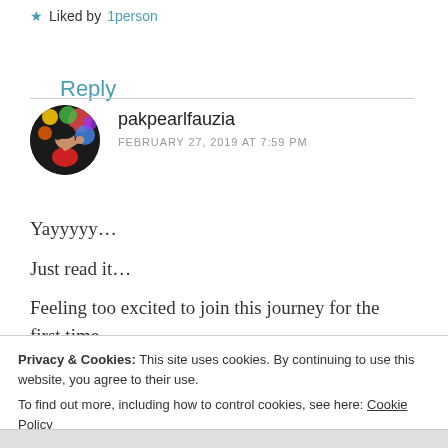★ Liked by 1person
Reply
pakpearlfauzia
FEBRUARY 27, 2019 AT 7:59 PM
Yayyyyy...
Just read it...
Feeling too excited to join this journey for the first time ...
Privacy & Cookies: This site uses cookies. By continuing to use this website, you agree to their use.
To find out more, including how to control cookies, see here: Cookie Policy
Close and accept